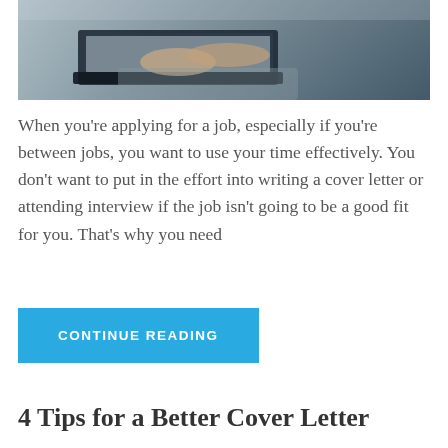[Figure (photo): Hands typing on a laptop keyboard, person wearing a grey knit sweater]
When you’re applying for a job, especially if you’re between jobs, you want to use your time effectively. You don’t want to put in the effort into writing a cover letter or attending interview if the job isn’t going to be a good fit for you. That’s why you need
CONTINUE READING
4 Tips for a Better Cover Letter